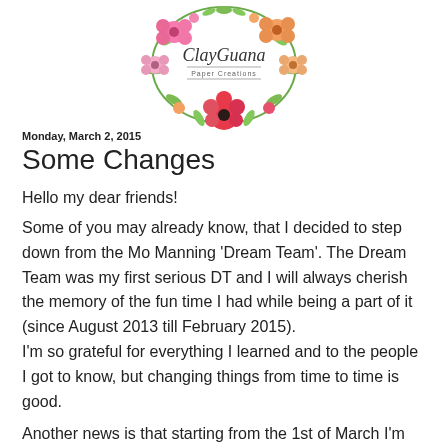[Figure (logo): ClayGuana Paper Creations logo: circular floral wreath of pink, red, and orange watercolor flowers with green leaves, with cursive text 'ClayGuana' and 'Paper Creations' in the center]
Monday, March 2, 2015
Some Changes
Hello my dear friends!
Some of you may already know, that I decided to step down from the Mo Manning 'Dream Team'. The Dream Team was my first serious DT and I will always cherish the memory of the fun time I had while being a part of it (since August 2013 till February 2015).
I'm so grateful for everything I learned and to the people I got to know, but changing things from time to time is good.
Another news is that starting from the 1st of March I'm joining the Little Darlings Rubber Stamps Design Team!! Hooray)